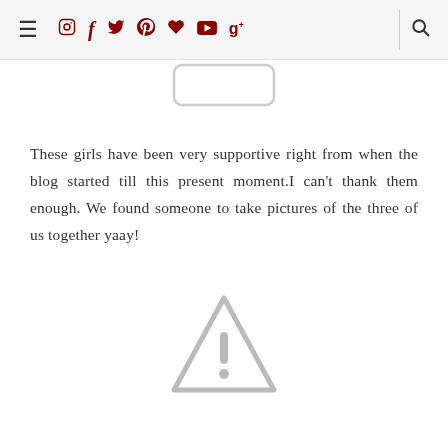Navigation bar with hamburger menu and social media icons (Instagram, Facebook, Twitter, Pinterest, heart/favorite, YouTube, Google+) and search icon
[Figure (other): Top portion of a broken/missing image placeholder — rounded rectangle device outline, partially visible]
These girls have been very supportive right from when the blog started till this present moment.I can't thank them enough. We found someone to take pictures of the three of us together yaay!
[Figure (other): Broken image placeholder icon — grey triangle warning sign with exclamation mark]